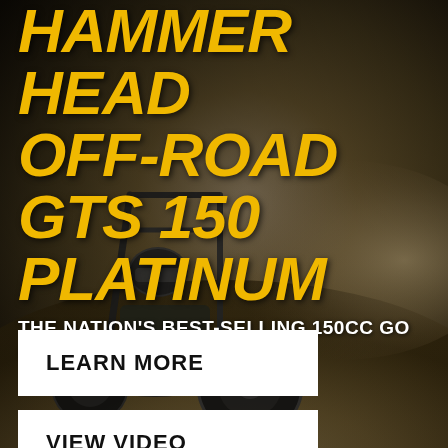[Figure (photo): Action photo of a go-kart / off-road buggy kicking up dust on a dirt trail, rider in helmet visible, dark moody background]
HAMMERHEAD OFF-ROAD GTS 150 PLATINUM
THE NATION'S BEST-SELLING 150CC GO CART
LEARN MORE
VIEW VIDEO